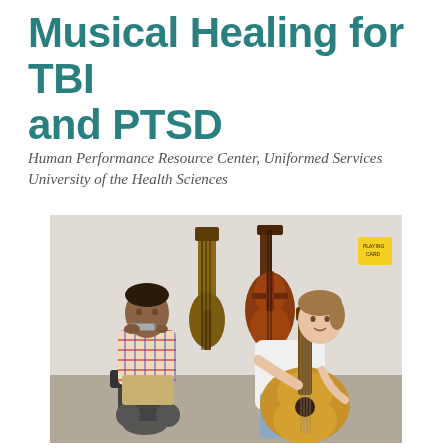Musical Healing for TBI and PTSD
Human Performance Resource Center, Uniformed Services University of the Health Sciences
[Figure (photo): A man in a wheelchair wearing a plaid shirt holds a harmonica to his mouth, while a woman in a white jacket sits to his right playing an acoustic guitar. Behind them, a bass guitar and a cello are leaning against the wall.]